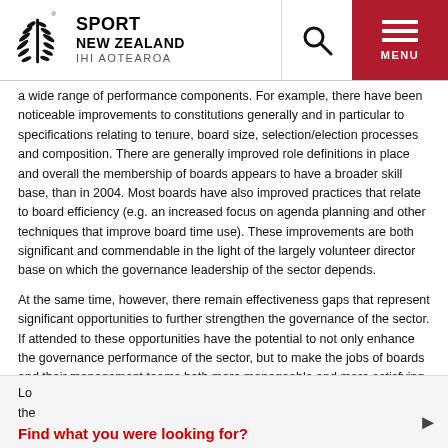Sport New Zealand IHI Aotearoa — header with logo, search, and menu
a wide range of performance components. For example, there have been noticeable improvements to constitutions generally and in particular to specifications relating to tenure, board size, selection/election processes and composition. There are generally improved role definitions in place and overall the membership of boards appears to have a broader skill base, than in 2004. Most boards have also improved practices that relate to board efficiency (e.g. an increased focus on agenda planning and other techniques that improve board time use). These improvements are both significant and commendable in the light of the largely volunteer director base on which the governance leadership of the sector depends.
At the same time, however, there remain effectiveness gaps that represent significant opportunities to further strengthen the governance of the sector. If attended to these opportunities have the potential to not only enhance the governance performance of the sector, but to make the jobs of boards and their management teams both more manageable and more satisfying.
Lo...the...
Find what you were looking for?